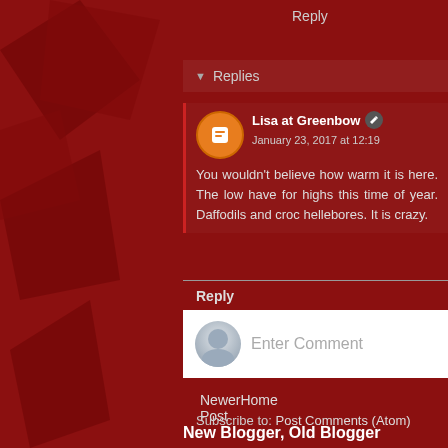Reply
Replies
Lisa at Greenbow  January 23, 2017 at 12:19
You wouldn't believe how warm it is here. The low have for highs this time of year. Daffodils and croc hellebores. It is crazy.
Reply
Enter Comment
Newer Post
Home
Subscribe to: Post Comments (Atom)
New Blogger, Old Blogger
All I can say it is difficult to deal with change. This new Blogger for